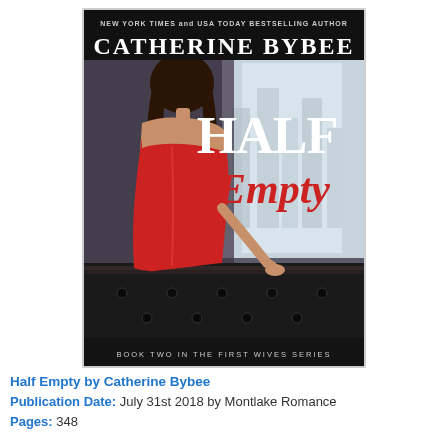[Figure (illustration): Book cover of 'Half Empty' by Catherine Bybee. Black banner at top reads 'NEW YORK TIMES and USA TODAY BESTSELLING AUTHOR' above large white text 'CATHERINE BYBEE'. Main image shows a woman in a red dress viewed from behind, leaning on a dark tufted leather couch with city skyline in background. Book title 'HALF Empty' in large white and red script text. Bottom text reads 'BOOK TWO IN THE FIRST WIVES SERIES'.]
Half Empty by Catherine Bybee
Publication Date: July 31st 2018 by Montlake Romance
Pages: 348